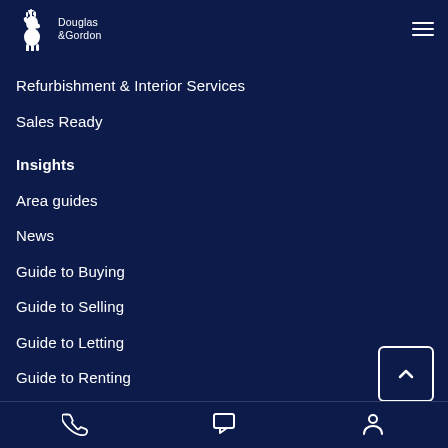[Figure (logo): Douglas & Gordon logo with deer/stag icon in white on dark navy background]
Refurbishment & Interior Services
Sales Ready
Insights
Area guides
News
Guide to Buying
Guide to Selling
Guide to Letting
Guide to Renting
[Figure (other): Back to top button with upward chevron arrow in white square border]
Phone icon | Chat icon | Account icon